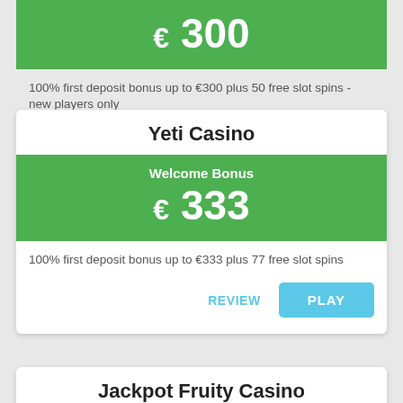€ 300
100% first deposit bonus up to €300 plus 50 free slot spins - new players only
REVIEW
PLAY
Yeti Casino
Welcome Bonus
€ 333
100% first deposit bonus up to €333 plus 77 free slot spins
REVIEW
PLAY
Jackpot Fruity Casino